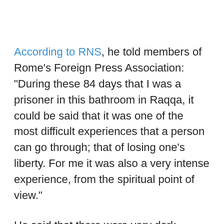According to RNS, he told members of Rome's Foreign Press Association: "During these 84 days that I was a prisoner in this bathroom in Raqqa, it could be said that it was one of the most difficult experiences that a person can go through; that of losing one's liberty. For me it was also a very intense experience, from the spiritual point of view."
He said that there were very dark moments when he was threatened with execution. "It was very difficult above all when they said, 'Become Muslim or we'll cut your head off,'" he said.